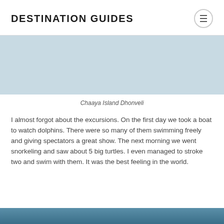DESTINATION GUIDES
[Figure (photo): Photo area showing Chaaya Island Dhonveli, light blue-grey placeholder]
Chaaya Island Dhonveli
I almost forgot about the excursions. On the first day we took a boat to watch dolphins. There were so many of them swimming freely and giving spectators a great show. The next morning we went snorkeling and saw about 5 big turtles. I even managed to stroke two and swim with them. It was the best feeling in the world.
[Figure (photo): Bottom partial image showing ocean/water scene in blue tones]